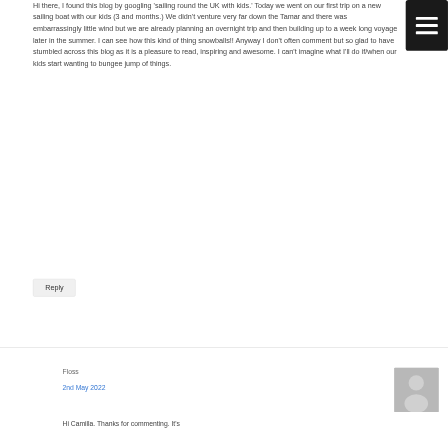Hi there, I found this blog by googling 'sailing round the UK with kids.' Today we went on our first trip on a new sailing boat with our kids (3 and months.) We didn't venture very far down the Tamar and there was embarrassingly little wind but we are already planning an overnight trip and then building up to a week long voyage later in the summer. I can see how this kind of thing snowballs!! Anyway I don't often comment but so glad to have stumbled across this blog as it is a pleasure to read, inspiring and awesome. I can't imagine what I'll do if/when our kids start wanting to bungee jump of things.
Reply
Floss
2nd May 2022
Hi Camilla. Thanks for commenting. It's